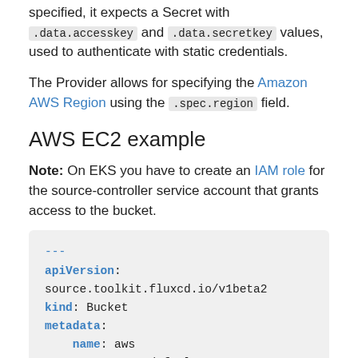specified, it expects a Secret with .data.accesskey and .data.secretkey values, used to authenticate with static credentials.
The Provider allows for specifying the Amazon AWS Region using the .spec.region field.
AWS EC2 example
Note: On EKS you have to create an IAM role for the source-controller service account that grants access to the bucket.
---
apiVersion: source.toolkit.fluxcd.io/v1beta2
kind: Bucket
metadata:
  name: aws
  namespace: default
spec: